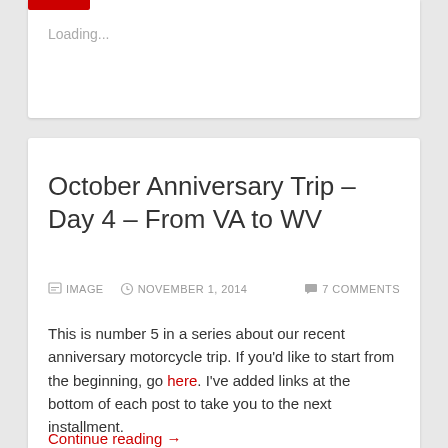Loading...
October Anniversary Trip – Day 4 – From VA to WV
IMAGE   NOVEMBER 1, 2014   7 COMMENTS
This is number 5 in a series about our recent anniversary motorcycle trip. If you'd like to start from the beginning, go here. I've added links at the bottom of each post to take you to the next installment.
Continue reading →
Share the word: